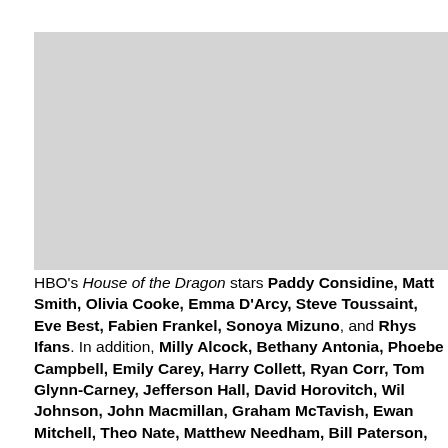[Figure (photo): Gray placeholder image representing a photo from HBO's House of the Dragon]
HBO's House of the Dragon stars Paddy Considine, Matt Smith, Olivia Cooke, Emma D'Arcy, Steve Toussaint, Eve Best, Fabien Frankel, Sonoya Mizuno, and Rhys Ifans. In addition, Milly Alcock, Bethany Antonia, Phoebe Campbell, Emily Carey, Harry Collett, Ryan Corr, Tom Glynn-Carney, Jefferson Hall, David Horovitch, Wil Johnson, John Macmillan, Graham McTavish, Ewan Mitchell, Theo Nate, Matthew Needham, Bill Paterson, Phia Saban, Gavin Spokes, and Savannah Steyn also